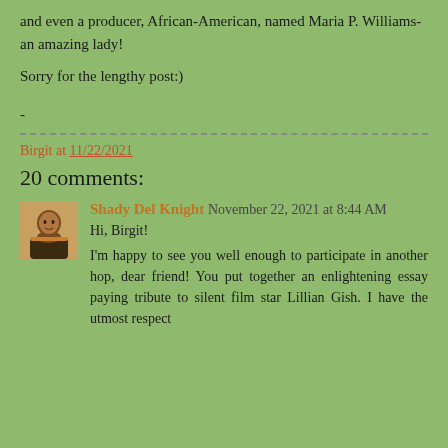and even a producer, African-American, named Maria P. Williams- an amazing lady!
Sorry for the lengthy post:)
-
Birgit at 11/22/2021
20 comments:
Shady Del Knight  November 22, 2021 at 8:44 AM
Hi, Birgit!
I'm happy to see you well enough to participate in another hop, dear friend! You put together an enlightening essay paying tribute to silent film star Lillian Gish. I have the utmost respect